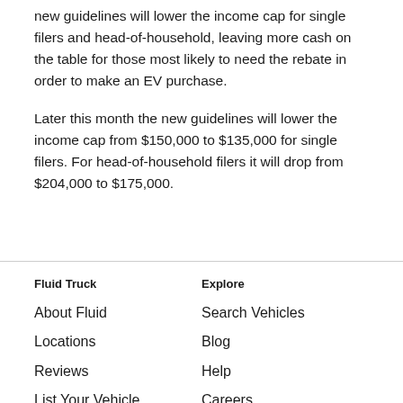new guidelines will lower the income cap for single filers and head-of-household, leaving more cash on the table for those most likely to need the rebate in order to make an EV purchase.
Later this month the new guidelines will lower the income cap from $150,000 to $135,000 for single filers. For head-of-household filers it will drop from $204,000 to $175,000.
Fluid Truck | About Fluid | Locations | Reviews | List Your Vehicle | Explore | Search Vehicles | Blog | Help | Careers